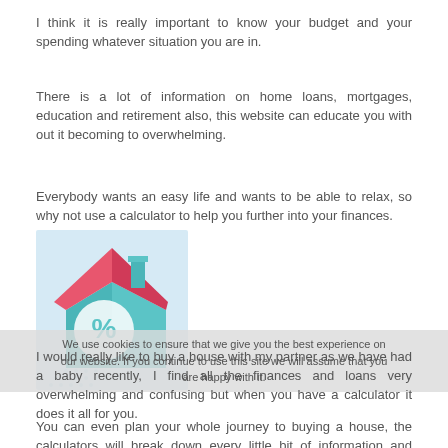I think it is really important to know your budget and your spending whatever situation you are in.
There is a lot of information on home loans, mortgages, education and retirement also, this website can educate you with out it becoming to overwhelming.
Everybody wants an easy life and wants to be able to relax, so why not use a calculator to help you further into your finances.
[Figure (illustration): Isometric illustration of a house with a percentage sign, in teal and pink/red colors, on a light blue dotted background, representing home loan or mortgage calculator.]
I would really like to buy a house with my partner as we have had a baby recently, I find all the finances and loans very overwhelming and confusing but when you have a calculator it does it all for you.
You can even plan your whole journey to buying a house, the calculators will break down every little bit of information and finance